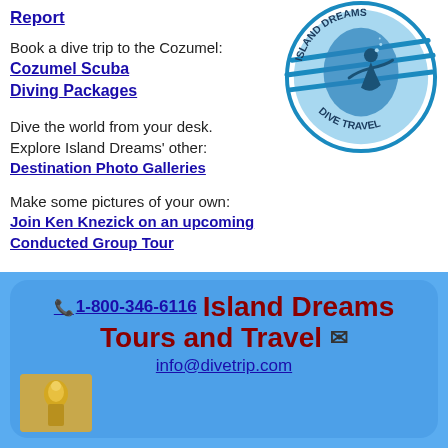Report
Book a dive trip to the Cozumel: Cozumel Scuba Diving Packages
[Figure (logo): Island Dreams Dive Travel circular logo with diver silhouette and blue globe]
Dive the world from your desk. Explore Island Dreams' other: Destination Photo Galleries
Make some pictures of your own: Join Ken Knezick on an upcoming Conducted Group Tour
📞 1-800-346-6116  Island Dreams Tours and Travel ✉ info@divetrip.com
[Figure (photo): Thumbnail photo at bottom left of blue section, appears to show a golden figurine or artifact]